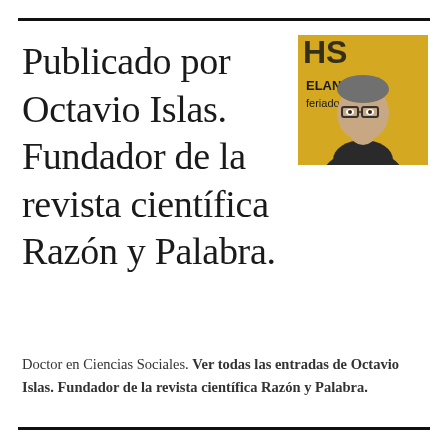Publicado por Octavio Islas. Fundador de la revista científica Razón y Palabra.
[Figure (photo): Portrait photo of Octavio Islas, a middle-aged man with glasses wearing a dark jacket, against a yellow background with partial text 'ELANTE' and 'feriado']
Doctor en Ciencias Sociales. Ver todas las entradas de Octavio Islas. Fundador de la revista científica Razón y Palabra.